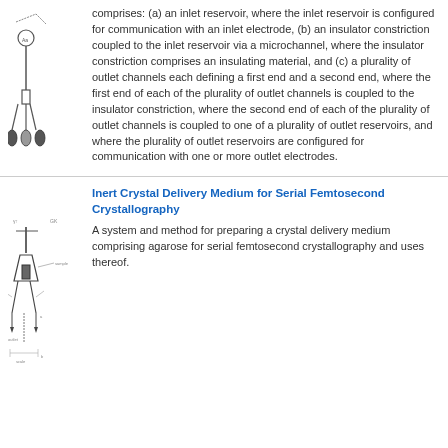[Figure (engineering-diagram): Schematic diagram of an inlet/outlet microfluidic device with channels and reservoirs]
comprises: (a) an inlet reservoir, where the inlet reservoir is configured for communication with an inlet electrode, (b) an insulator constriction coupled to the inlet reservoir via a microchannel, where the insulator constriction comprises an insulating material, and (c) a plurality of outlet channels each defining a first end and a second end, where the first end of each of the plurality of outlet channels is coupled to the insulator constriction, where the second end of each of the plurality of outlet channels is coupled to one of a plurality of outlet reservoirs, and where the plurality of outlet reservoirs are configured for communication with one or more outlet electrodes.
[Figure (engineering-diagram): Schematic engineering diagram of a crystal delivery medium system for serial femtosecond crystallography]
Inert Crystal Delivery Medium for Serial Femtosecond Crystallography
A system and method for preparing a crystal delivery medium comprising agarose for serial femtosecond crystallography and uses thereof.